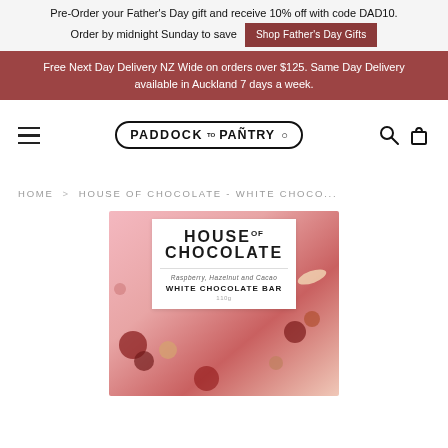Pre-Order your Father's Day gift and receive 10% off with code DAD10. Order by midnight Sunday to save  [Shop Father's Day Gifts]
Free Next Day Delivery NZ Wide on orders over $125. Same Day Delivery available in Auckland 7 days a week.
[Figure (logo): Paddock to Pantry logo in a pill/racetrack shaped border with navigation hamburger menu and search/cart icons]
HOME > HOUSE OF CHOCOLATE - WHITE CHOCO...
[Figure (photo): House of Chocolate Raspberry, Hazelnut and Cacao White Chocolate Bar 110g product packaging on a pink/red decorative background with raspberries and hazelnuts]